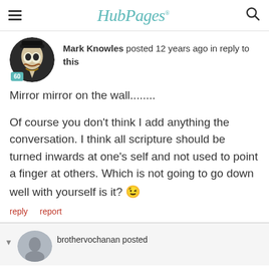HubPages
[Figure (screenshot): User avatar: person wearing a Guy Fawkes mask, circular crop, with a teal badge showing '60']
Mark Knowles posted 12 years ago in reply to this
Mirror mirror on the wall........

Of course you don't think I add anything the conversation. I think all scripture should be turned inwards at one's self and not used to point a finger at others. Which is not going to go down well with yourself is it? 😉
reply   report
brothervochanan posted